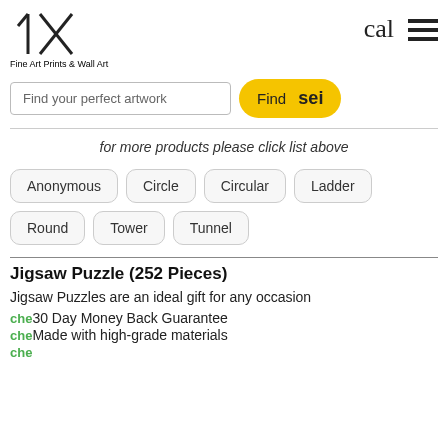[Figure (logo): 1x logo with diagonal lines forming a stylized 1 and X, with text 'Fine Art Prints & Wall Art' below]
cal
[Figure (other): Hamburger menu icon with three horizontal bars]
Find your perfect artwork
Find sei
for more products please click list above
Anonymous
Circle
Circular
Ladder
Round
Tower
Tunnel
Jigsaw Puzzle (252 Pieces)
Jigsaw Puzzles are an ideal gift for any occasion
che30 Day Money Back Guarantee
cheMade with high-grade materials